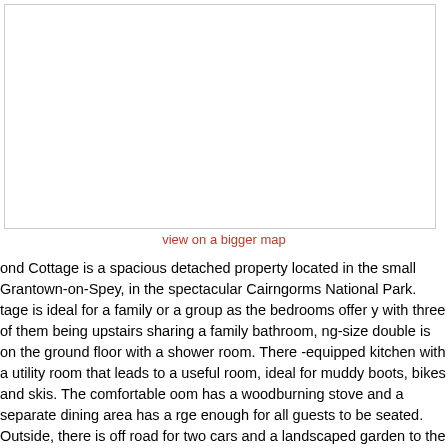[Figure (map): Embedded map placeholder showing a location near Grantown-on-Spey in the Cairngorms National Park]
view on a bigger map
ond Cottage is a spacious detached property located in the small Grantown-on-Spey, in the spectacular Cairngorms National Park. tage is ideal for a family or a group as the bedrooms offer y with three of them being upstairs sharing a family bathroom, ng-size double is on the ground floor with a shower room. There -equipped kitchen with a utility room that leads to a useful room, ideal for muddy boots, bikes and skis. The comfortable oom has a woodburning stove and a separate dining area has a rge enough for all guests to be seated. Outside, there is off road for two cars and a landscaped garden to the front with a patio